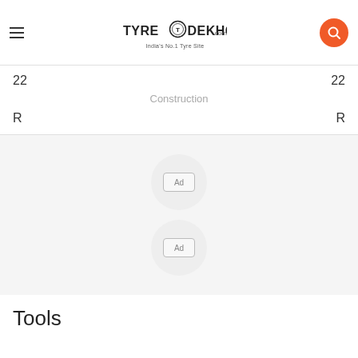TyreDekho.com — India's No.1 Tyre Site
22    Construction    22
R    R
[Figure (other): Two advertisement placeholder circles with 'Ad' label inside a bordered rectangle, displayed on a light grey background]
Tools